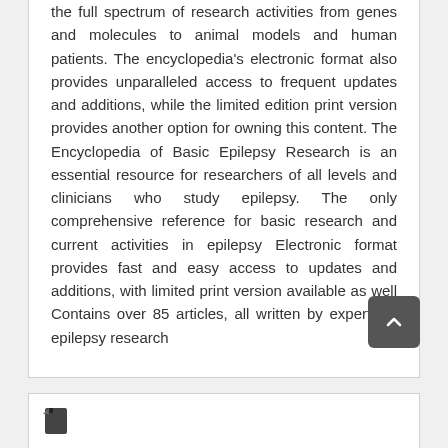the full spectrum of research activities from genes and molecules to animal models and human patients. The encyclopedia's electronic format also provides unparalleled access to frequent updates and additions, while the limited edition print version provides another option for owning this content. The Encyclopedia of Basic Epilepsy Research is an essential resource for researchers of all levels and clinicians who study epilepsy. The only comprehensive reference for basic research and current activities in epilepsy Electronic format provides fast and easy access to updates and additions, with limited print version available as well Contains over 85 articles, all written by experts in epilepsy research